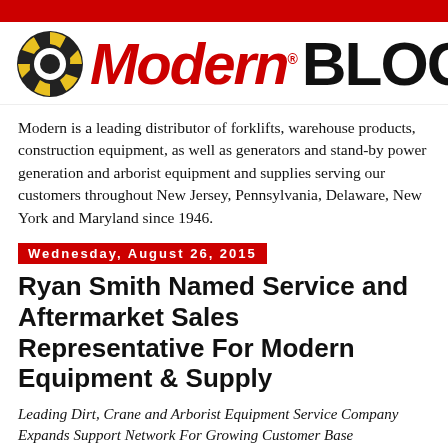[Figure (logo): Modern Blog logo with red circular gear icon, red italic MODERN text, and black bold BLOG text with cursor icon]
Modern is a leading distributor of forklifts, warehouse products, construction equipment, as well as generators and stand-by power generation and arborist equipment and supplies serving our customers throughout New Jersey, Pennsylvania, Delaware, New York and Maryland since 1946.
Wednesday, August 26, 2015
Ryan Smith Named Service and Aftermarket Sales Representative For Modern Equipment & Supply
Leading Dirt, Crane and Arborist Equipment Service Company Expands Support Network For Growing Customer Base